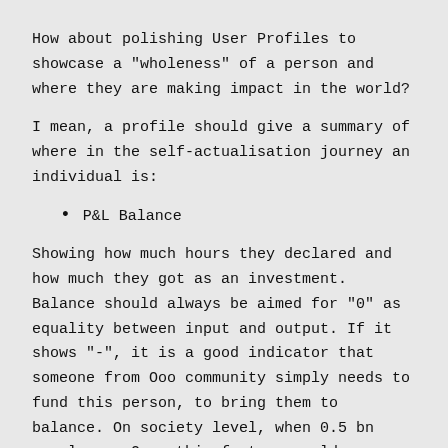How about polishing User Profiles to showcase a "wholeness" of a person and where they are making impact in the world?
I mean, a profile should give a summary of where in the self-actualisation journey an individual is:
P&L Balance
Showing how much hours they declared and how much they got as an investment. Balance should always be aimed for "0" as equality between input and output. If it shows "-", it is a good indicator that someone from Ooo community simply needs to fund this person, to bring them to balance. On society level, when 0.5 bn people use Ooo, this feature would